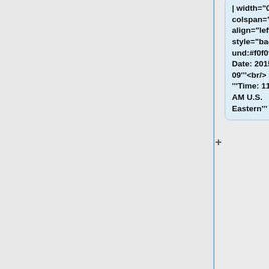| width="0%" colspan="1" align="left" style="background:#f0f0f0;"|'''Date: 2015-03-09'''<br/>'''Time: 11:00 AM U.S. Eastern'''
|-
| width="0%" colspan="2" align="right"|'''Facilitator''': Ken McCaslin
| width="0%" colspan="1" align="right"|'''Note taker(s)''': Anne Wizauer